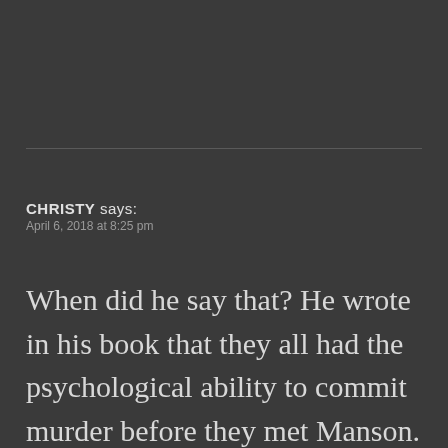CHRISTY says:
April 6, 2018 at 8:25 pm
When did he say that? He wrote in his book that they all had the psychological ability to commit murder before they met Manson. He said meeting Manson and his subsequent actions brought about the murders they did commit. But they